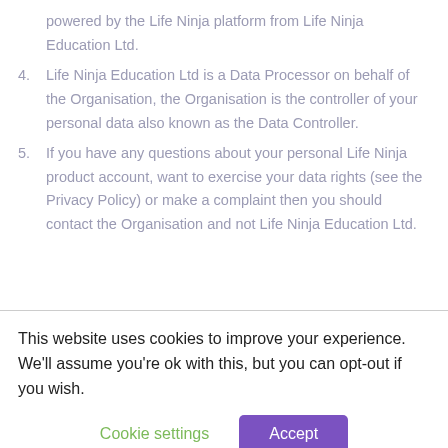powered by the Life Ninja platform from Life Ninja Education Ltd.
4. Life Ninja Education Ltd is a Data Processor on behalf of the Organisation, the Organisation is the controller of your personal data also known as the Data Controller.
5. If you have any questions about your personal Life Ninja product account, want to exercise your data rights (see the Privacy Policy) or make a complaint then you should contact the Organisation and not Life Ninja Education Ltd.
This website uses cookies to improve your experience. We'll assume you're ok with this, but you can opt-out if you wish.
Cookie settings    Accept